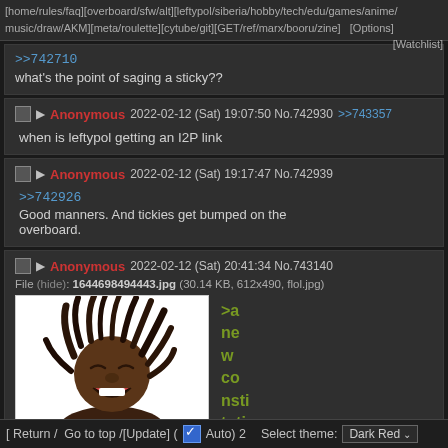[home/rules/faq][overboard/sfw/alt][leftypol/siberia/hobby/tech/edu/games/anime/music/draw/AKM][meta/roulette][cytube/git][GET/ref/marx/booru/zine]  [Options][Watchlist]
>>742710
what's the point of saging a sticky??
Anonymous 2022-02-12 (Sat) 19:07:50 No.742930 >>743357
when is leftypol getting an I2P link
Anonymous 2022-02-12 (Sat) 19:17:47 No.742939
>>742926
Good manners. And tickies get bumped on the overboard.
Anonymous 2022-02-12 (Sat) 20:41:34 No.743140
File (hide): 1644698494443.jpg (30.14 KB, 612x490, flol.jpg)
[Figure (photo): Photo of a person with dreadlocks laughing or grimacing with eyes closed, on white background. Next to it greentext: >a new constitution]
[ Return /  Go to top /[Update] ( Auto) 2   Select theme: Dark Red